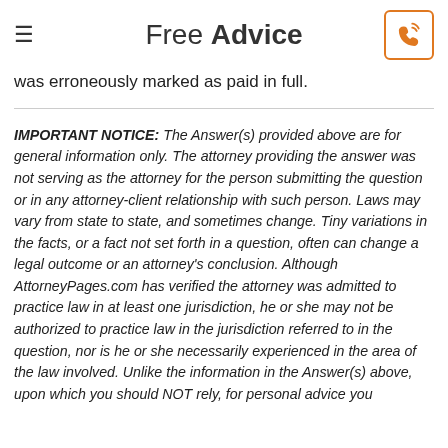Free Advice
was erroneously marked as paid in full.
IMPORTANT NOTICE: The Answer(s) provided above are for general information only. The attorney providing the answer was not serving as the attorney for the person submitting the question or in any attorney-client relationship with such person. Laws may vary from state to state, and sometimes change. Tiny variations in the facts, or a fact not set forth in a question, often can change a legal outcome or an attorney's conclusion. Although AttorneyPages.com has verified the attorney was admitted to practice law in at least one jurisdiction, he or she may not be authorized to practice law in the jurisdiction referred to in the question, nor is he or she necessarily experienced in the area of the law involved. Unlike the information in the Answer(s) above, upon which you should NOT rely, for personal advice you